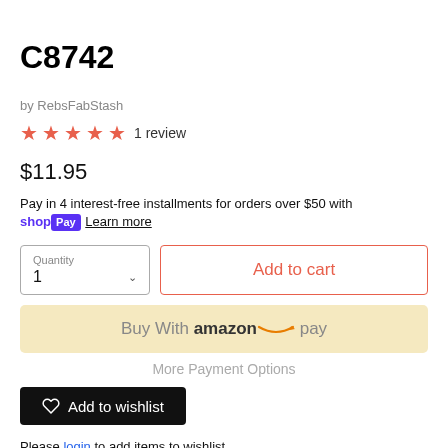C8742
by RebsFabStash
★★★★★ 1 review
$11.95
Pay in 4 interest-free installments for orders over $50 with shopPay Learn more
Quantity 1 | Add to cart
Buy With amazon pay
More Payment Options
♡ Add to wishlist
Please login to add items to wishlist